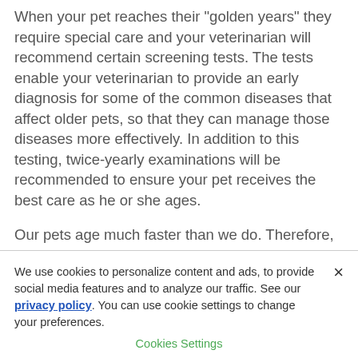When your pet reaches their "golden years" they require special care and your veterinarian will recommend certain screening tests. The tests enable your veterinarian to provide an early diagnosis for some of the common diseases that affect older pets, so that they can manage those diseases more effectively. In addition to this testing, twice-yearly examinations will be recommended to ensure your pet receives the best care as he or she ages.
Our pets age much faster than we do. Therefore, we need to do all we can to watch carefully and frequently for any developing problems. The earlier we find them, the more we
We use cookies to personalize content and ads, to provide social media features and to analyze our traffic. See our privacy policy. You can use cookie settings to change your preferences.
Cookies Settings